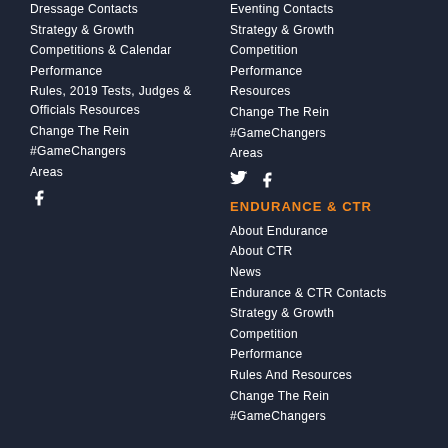Dressage Contacts
Strategy & Growth
Competitions & Calendar
Performance
Rules, 2019 Tests, Judges & Officials Resources
Change The Rein
#GameChangers
Areas
[Figure (logo): Facebook icon]
Eventing Contacts
Strategy & Growth
Competition
Performance
Resources
Change The Rein
#GameChangers
Areas
[Figure (logo): Twitter and Facebook icons]
ENDURANCE & CTR
About Endurance
About CTR
News
Endurance & CTR Contacts
Strategy & Growth
Competition
Performance
Rules And Resources
Change The Rein
#GameChangers